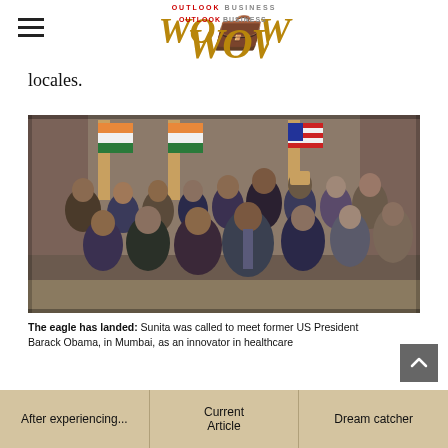OUTLOOK BUSINESS WOW
locales.
[Figure (photo): Group photo of approximately 20 people including former US President Barack Obama with Indian-American innovators and business leaders, standing in front of Indian and American flags in what appears to be a formal indoor venue in Mumbai.]
The eagle has landed: Sunita was called to meet former US President Barack Obama, in Mumbai, as an innovator in healthcare technology.
After experiencing... | Current Article | Dream catcher